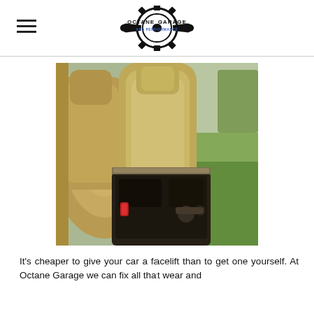Octane Garage and Performance
[Figure (photo): Interior of a car showing tan/beige leather seats, center console with a dark compartment open, and green grass visible through the window in the background.]
It's cheaper to give your car a facelift than to get one yourself. At Octane Garage we can fix all that wear and